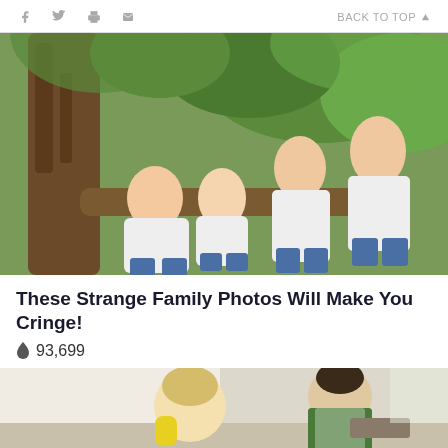f [twitter] [print] [email]   BACK TO TOP ▲
[Figure (photo): Family of four posing in white shirts and jeans, sitting in a large tree outdoors with green foliage in the background. Two adults and two tall young men.]
These Strange Family Photos Will Make You Cringe!
🔥 93,699
[Figure (photo): Partial view of people cleaning or working in a kitchen/domestic setting. A person with blonde hair leans forward, another person in green apron stands behind.]